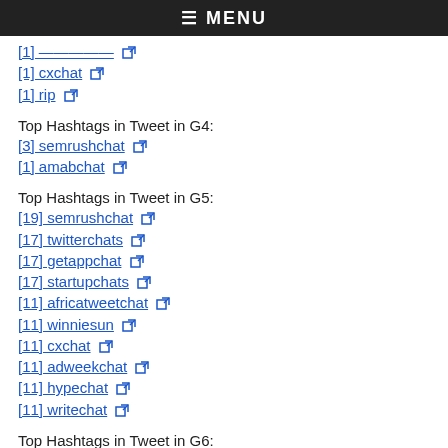≡ MENU
[1] cxchat
[1] rip
Top Hashtags in Tweet in G4:
[3] semrushchat
[1] amabchat
Top Hashtags in Tweet in G5:
[19] semrushchat
[17] twitterchats
[17] getappchat
[17] startupchats
[11] africatweetchat
[11] winniesun
[11] cxchat
[11] adweekchat
[11] hypechat
[11] writechat
Top Hashtags in Tweet in G6:
[22] semrushchat
[16] adweekchat
[16] cxchat
[16] winniesun
[14] freelanceheroes